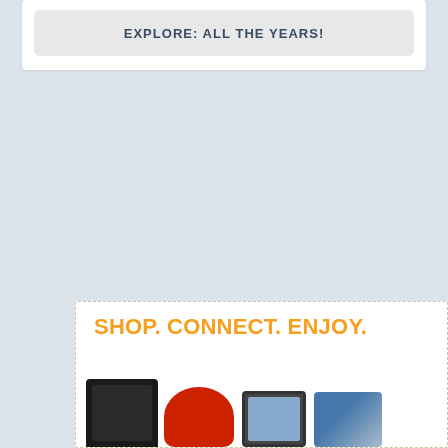EXPLORE: ALL THE YEARS!
[Figure (illustration): Scroll-to-top arrow button, gray background with white upward chevron]
[Figure (illustration): Advertisement banner with text 'SHOP. CONNECT. ENJOY.' in orange, with product images including a black gaming console, red stand mixer, tablet, and photo product]